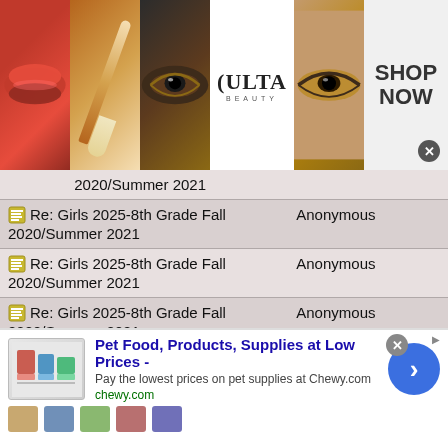[Figure (photo): Ulta Beauty advertisement banner with makeup images (lips, brush, eye) and ULTA logo, with SHOP NOW call to action]
| Post | Author |
| --- | --- |
| 2020/Summer 2021 |  |
| Re: Girls 2025-8th Grade Fall 2020/Summer 2021 | Anonymous |
| Re: Girls 2025-8th Grade Fall 2020/Summer 2021 | Anonymous |
| Re: Girls 2025-8th Grade Fall 2020/Summer 2021 | Anonymous |
| Re: Girls 2025-8th Grade Fall 2020/Summer 2021 | Anonymous |
| Re: Girls 2025-8th Grade Fall 2020/Summer 2021 | Anonymous |
| Re: Girls 2025-8th Grade Fall | Anonymous |
[Figure (infographic): Chewy.com advertisement: Pet Food, Products, Supplies at Low Prices - Pay the lowest prices on pet supplies at Chewy.com]